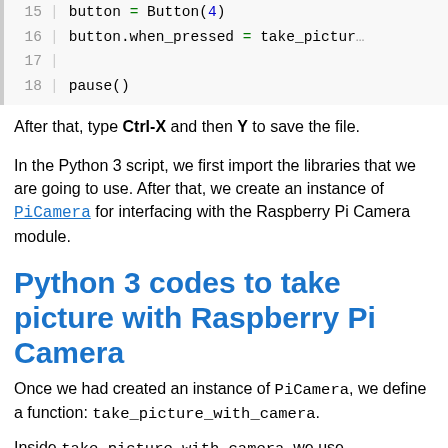[Figure (screenshot): Code block showing Python lines 15-18 with line numbers. Line 15: button = Button(4), Line 16: button.when_pressed = take_pictur..., Line 17: (blank), Line 18: pause()]
After that, type Ctrl-X and then Y to save the file.
In the Python 3 script, we first import the libraries that we are going to use. After that, we create an instance of PiCamera for interfacing with the Raspberry Pi Camera module.
Python 3 codes to take picture with Raspberry Pi Camera
Once we had created an instance of PiCamera, we define a function: take_picture_with_camera.
Inside take_picture_with_camera, we use